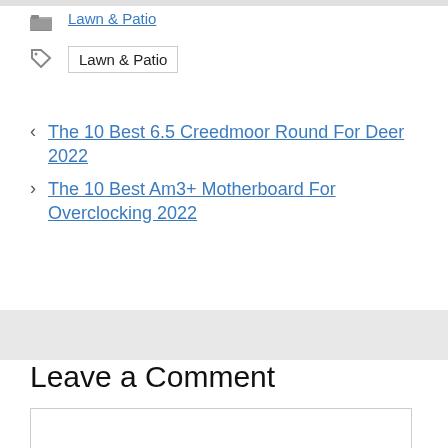Lawn & Patio
Lawn & Patio
< The 10 Best 6.5 Creedmoor Round For Deer 2022
> The 10 Best Am3+ Motherboard For Overclocking 2022
Leave a Comment